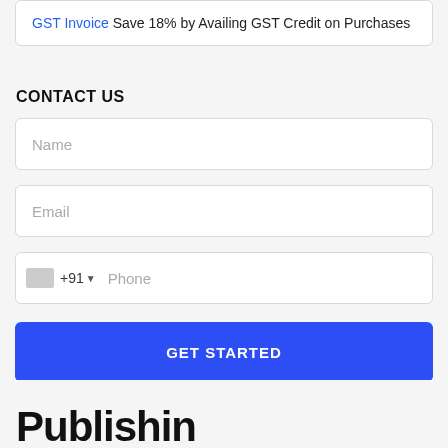GST Invoice Save 18% by Availing GST Credit on Purchases
CONTACT US
Name
Email
+91 Phone
GET STARTED
Publishin...